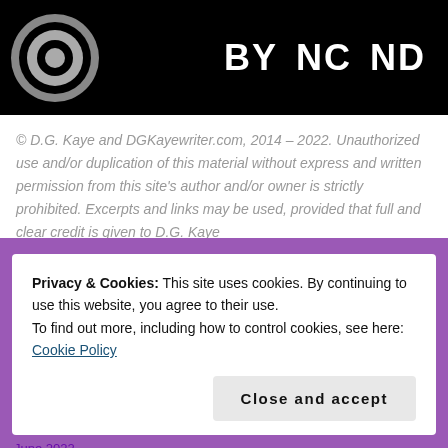[Figure (logo): Creative Commons license image: black background with circular CC logo on the left and BY NC ND text labels in white on the right]
© D.G. Kaye and DGKayewriter.com, 2014 – 2022. Unauthorized use and/or duplication of this material without express and written permission from this site's author and/or owner is strictly prohibited. Excerpts and links may be used, provided that full and clear credit is given to D.G. Kaye
Privacy & Cookies: This site uses cookies. By continuing to use this website, you agree to their use.
To find out more, including how to control cookies, see here: Cookie Policy
Close and accept
June 2022